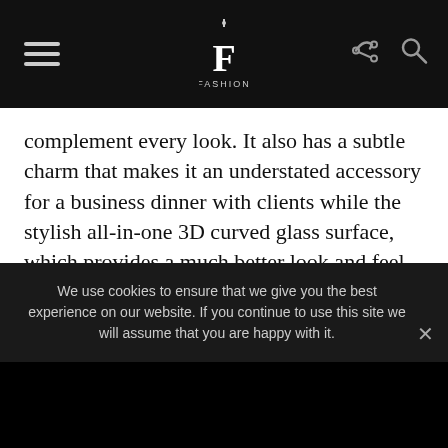FASHION [logo with hamburger menu, share, and search icons]
complement every look. It also has a subtle charm that makes it an understated accessory for a business dinner with clients while the stylish all-in-one 3D curved glass surface, which provides a much better look and feel with a 1.2-inch AMOLED display, is bold enough to make others take a second look during a garden party. This functional yet graceful form gives the HUAWEI WATCH GT 2 42mm a strength and gentleness, ideal for people seeking a quality lifestyle.
We use cookies to ensure that we give you the best experience on our website. If you continue to use this site we will assume that you are happy with it.